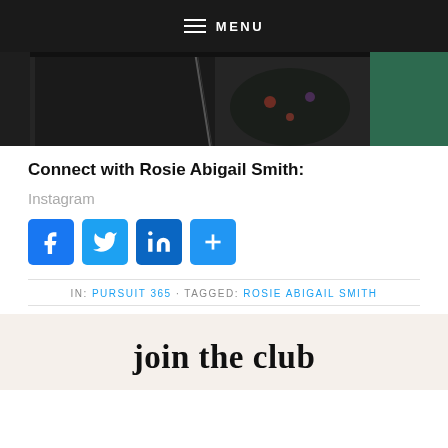MENU
[Figure (photo): Partial view of people wearing leather jackets, dark clothing with floral pattern visible, and green background on the right edge.]
Connect with Rosie Abigail Smith:
Instagram
[Figure (infographic): Social media share buttons: Facebook (f), Twitter (bird), LinkedIn (in), and a share (+) button, all in blue rounded square icons.]
IN: PURSUIT 365 · TAGGED: ROSIE ABIGAIL SMITH
join the club